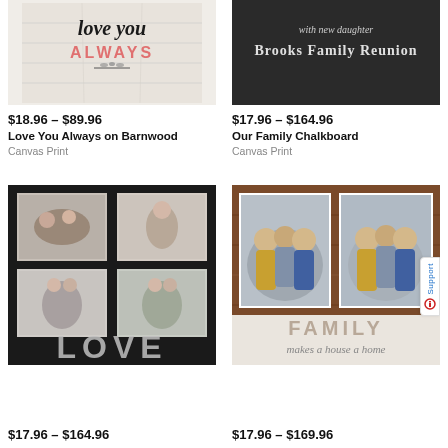[Figure (photo): Love You Always on Barnwood canvas print - white barnwood background with 'love you ALWAYS' text in script and pink/black lettering with a small floral sprig]
$18.96 – $89.96
Love You Always on Barnwood
Canvas Print
[Figure (photo): Our Family Chalkboard canvas print - dark chalkboard background with 'Brooks Family Reunion' text in white chalk-style lettering]
$17.96 – $164.96
Our Family Chalkboard
Canvas Print
[Figure (photo): Love canvas print - black background with four photo collage squares showing couples/family photos and large 'LOVE' text at bottom in distressed silver letters]
$17.96 – $164.96
[Figure (photo): Family Makes a House a Home canvas print - rustic wood frame background with two photos of three children in yellow and denim outfits, 'FAMILY makes a house a home' text at bottom]
$17.96 – $169.96